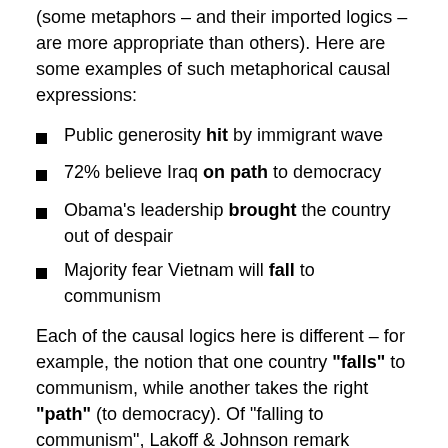(some metaphors – and their imported logics – are more appropriate than others). Here are some examples of such metaphorical causal expressions:
Public generosity hit by immigrant wave
72% believe Iraq on path to democracy
Obama's leadership brought the country out of despair
Majority fear Vietnam will fall to communism
Each of the causal logics here is different – for example, the notion that one country "falls" to communism, while another takes the right "path" (to democracy). Of "falling to communism", Lakoff & Johnson remark (Philosophy in the Flesh, p172) that the 'domino effect' theory was used to justify going to war with Vietnam: when one country "falls", the next will, and the next – unless force (military might) is applied to stop the "falling". The metaphor of taking a "path" has very different political entailments. A